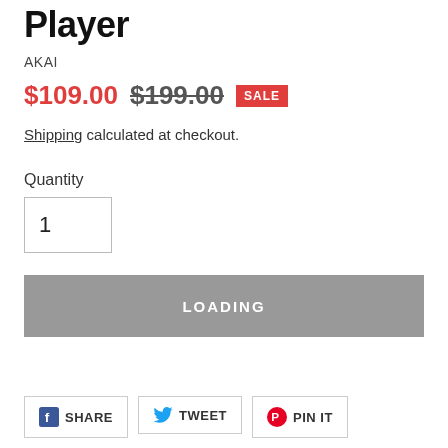Player
AKAI
$109.00 $199.00 SALE
Shipping calculated at checkout.
Quantity
1
LOADING
SHARE TWEET PIN IT